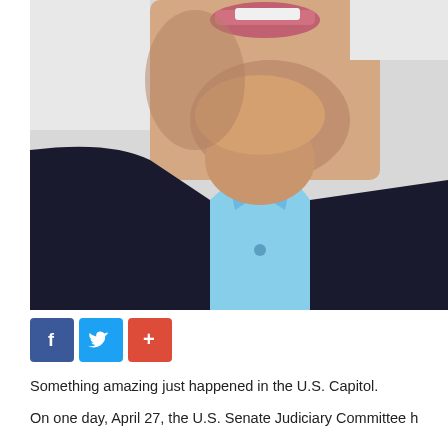[Figure (photo): Close-up photo of a man's lower face and neck, wearing a dark blazer and light blue dress shirt, smiling.]
[Figure (infographic): Social media sharing buttons: Facebook (blue), Twitter (blue), and a red plus/share button.]
Something amazing just happened in the U.S. Capitol.
On one day, April 27, the U.S. Senate Judiciary Committee h